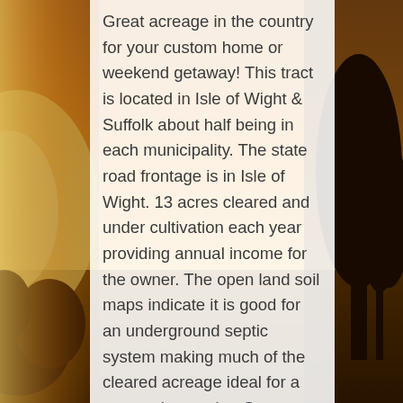[Figure (photo): Background photo of a countryside sunset scene with warm golden light and trees silhouetted on the right side and left side of the frame.]
Great acreage in the country for your custom home or weekend getaway! This tract is located in Isle of Wight & Suffolk about half being in each municipality. The state road frontage is in Isle of Wight. 13 acres cleared and under cultivation each year providing annual income for the owner. The open land soil maps indicate it is good for an underground septic system making much of the cleared acreage ideal for a custom home site. Great views of country acreage can be had from most anywhere from your new porches. The remaining acreage is in tall mature